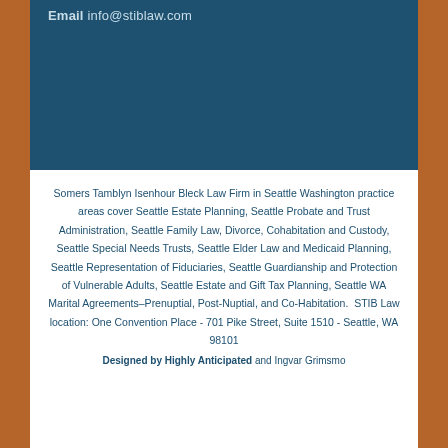Email info@stiblaw.com
Somers Tamblyn Isenhour Bleck Law Firm in Seattle Washington practice areas cover Seattle Estate Planning, Seattle Probate and Trust Administration, Seattle Family Law, Divorce, Cohabitation and Custody, Seattle Special Needs Trusts, Seattle Elder Law and Medicaid Planning, Seattle Representation of Fiduciaries, Seattle Guardianship and Protection of Vulnerable Adults, Seattle Estate and Gift Tax Planning, Seattle WA Marital Agreements–Prenuptial, Post-Nuptial, and Co-Habitation. STIB Law location: One Convention Place - 701 Pike Street, Suite 1510 - Seattle, WA 98101
Designed by Highly Anticipated and Ingvar Grimsmo